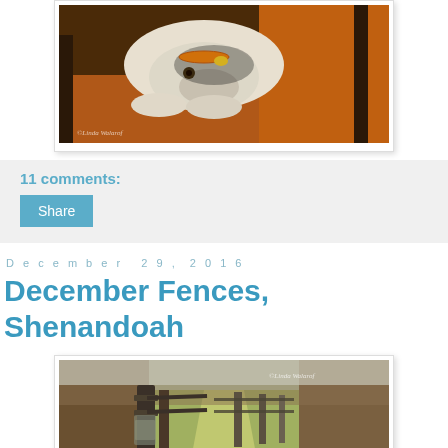[Figure (photo): Close-up photo of a white dog resting its head on a wooden floor, with warm orange tones, watermark reading ©Linda Waterp]
11 comments:
Share
December 29, 2016
December Fences, Shenandoah
[Figure (photo): Photo of wooden fence posts along a grassy path in Shenandoah, with dried brush on the sides, watermark reading ©Linda Waterp]